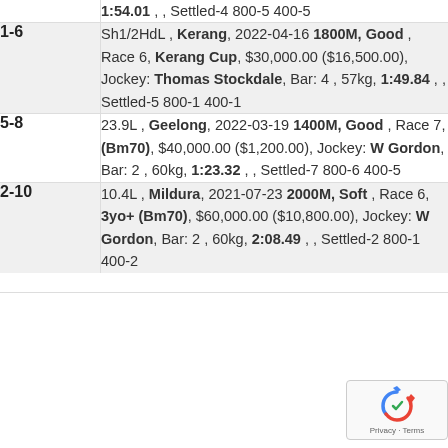| Position | Details |
| --- | --- |
|  | 1:54.01 , , Settled-4 800-5 400-5 |
| 1-6 | Sh1/2HdL , Kerang, 2022-04-16 1800M, Good , Race 6, Kerang Cup, $30,000.00 ($16,500.00), Jockey: Thomas Stockdale, Bar: 4 , 57kg, 1:49.84 , , Settled-5 800-1 400-1 |
| 5-8 | 23.9L , Geelong, 2022-03-19 1400M, Good , Race 7, (Bm70), $40,000.00 ($1,200.00), Jockey: W Gordon, Bar: 2 , 60kg, 1:23.32 , , Settled-7 800-6 400-5 |
| 2-10 | 10.4L , Mildura, 2021-07-23 2000M, Soft , Race 6, 3yo+ (Bm70), $60,000.00 ($10,800.00), Jockey: W Gordon, Bar: 2 , 60kg, 2:08.49 , , Settled-2 800-1 400-2 |